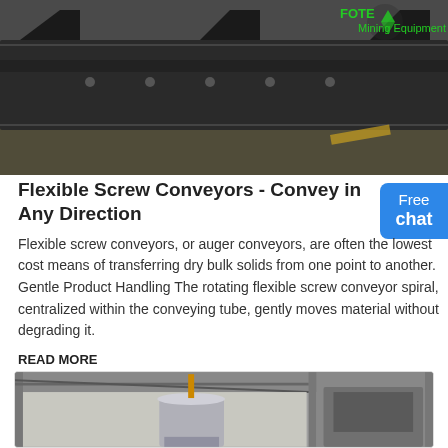[Figure (photo): Industrial mining equipment - large steel screw conveyor or feeder machinery in a warehouse, with a recycling/mining equipment company logo overlay in green]
Flexible Screw Conveyors - Convey in Any Direction
Flexible screw conveyors, or auger conveyors, are often the lowest cost means of transferring dry bulk solids from one point to another. Gentle Product Handling The rotating flexible screw conveyor spiral, centralized within the conveying tube, gently moves material without degrading it.
READ MORE
[Figure (photo): Industrial conveyor or bucket elevator equipment in a large warehouse/factory setting - metal cylindrical container or hopper visible]